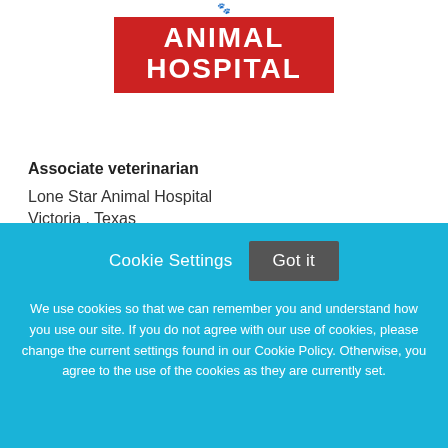[Figure (logo): Animal Hospital logo: red rectangular banner with white bold text 'ANIMAL HOSPITAL' in two lines, with small animal silhouettes above]
Associate veterinarian
Lone Star Animal Hospital
Victoria , Texas
Cookie Settings  Got it

We use cookies so that we can remember you and understand how you use our site. If you do not agree with our use of cookies, please change the current settings found in our Cookie Policy. Otherwise, you agree to the use of the cookies as they are currently set.